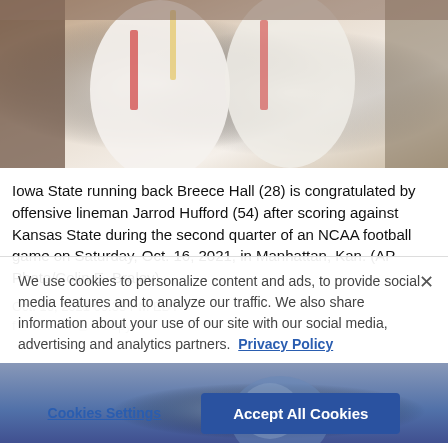[Figure (photo): Iowa State football players in white uniforms, one player being congratulated by a teammate, action/celebration photo cropped at the top of the page]
Iowa State running back Breece Hall (28) is congratulated by offensive lineman Jarrod Hufford (54) after scoring against Kansas State during the second quarter of an NCAA football game on Saturday, Oct. 16, 2021, in Manhattan, Kan. (AP Photo/Colin E. Braley)
Oct. 16, 2021 09:35 PM EDT
We use cookies to personalize content and ads, to provide social media features and to analyze our traffic. We also share information about your use of our site with our social media, advertising and analytics partners.  Privacy Policy
Cookies Settings    Accept All Cookies